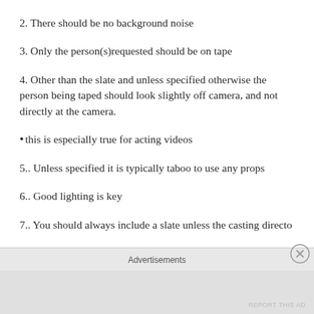2. There should be no background noise
3. Only the person(s)requested should be on tape
4. Other than the slate and unless specified otherwise the person being taped should look slightly off camera, and not directly at the camera.
• this is especially true for acting videos
5.. Unless specified it is typically taboo to use any props
6.. Good lighting is key
7.. You should always include a slate unless the casting director
Advertisements